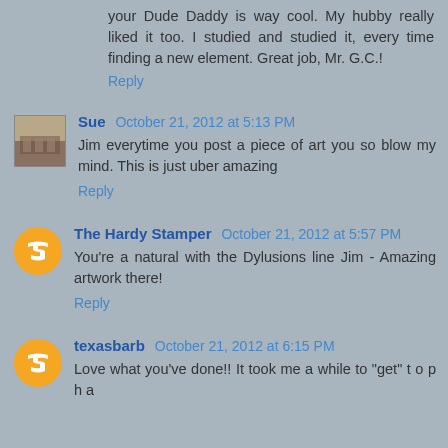your Dude Daddy is way cool. My hubby really liked it too. I studied and studied it, every time finding a new element. Great job, Mr. G.C.!
Reply
Sue  October 21, 2012 at 5:13 PM
Jim everytime you post a piece of art you so blow my mind. This is just uber amazing
Reply
The Hardy Stamper  October 21, 2012 at 5:57 PM
You're a natural with the Dylusions line Jim - Amazing artwork there!
Reply
texasbarb  October 21, 2012 at 6:15 PM
Love what you've done!! It took me a while to "get" t o p h a